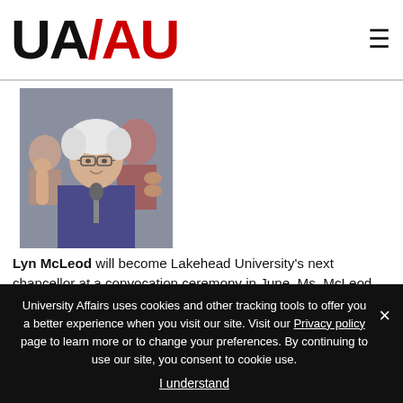UA/AU
[Figure (photo): Photo of Lyn McLeod, an elderly white-haired woman speaking at a microphone, raising her hand, with people applauding in the background.]
Lyn McLeod will become Lakehead University's next chancellor at a convocation ceremony in June. Ms. McLeod was Member of Provincial Parliament for the Fort William Riding (now Thunder Bay–Atikokan) from 1987 to 2003. She served variously as minister of colleges and universities, minister of energy and minister of natural
University Affairs uses cookies and other tracking tools to offer you a better experience when you visit our site. Visit our Privacy policy page to learn more or to change your preferences. By continuing to use our site, you consent to cookie use.
I understand